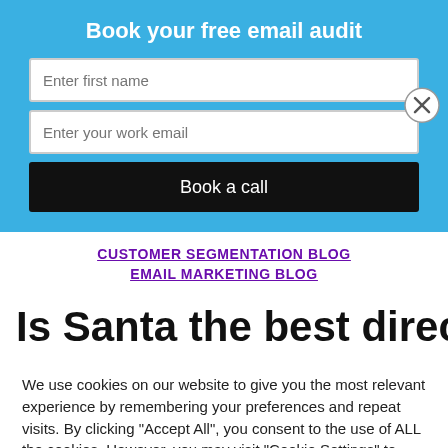Book your free email audit
Enter first name
Enter your work email
Book a call
CUSTOMER SEGMENTATION BLOG
EMAIL MARKETING BLOG
Is Santa the best direct
We use cookies on our website to give you the most relevant experience by remembering your preferences and repeat visits. By clicking "Accept All", you consent to the use of ALL the cookies. However, you may visit "Cookie Settings" to provide a controlled consent.
Cookie Settings
Accept All